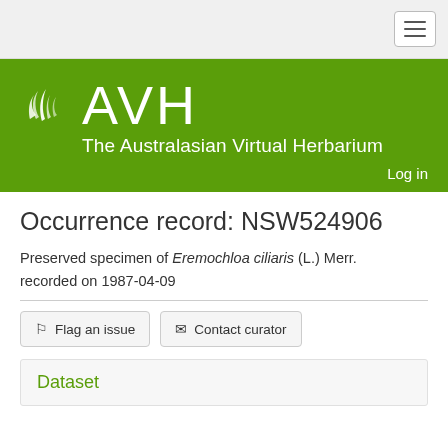AVH – The Australasian Virtual Herbarium
Occurrence record: NSW524906
Preserved specimen of Eremochloa ciliaris (L.) Merr. recorded on 1987-04-09
Flag an issue
Contact curator
Dataset